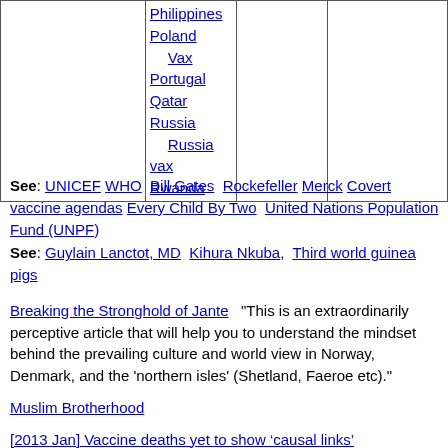|  | Philippines
Poland
  Vax
Portugal
Qatar
Russia
  Russia vax
Rwanda |  |  |
See: UNICEF WHO  Bill Gates  Rockefeller Merck Covert vaccine agendas Every Child By Two  United Nations Population Fund (UNPF)
See: Guylain Lanctot, MD  Kihura Nkuba,  Third world guinea pigs
Breaking the Stronghold of Jante   "This is an extraordinarily perceptive article that will help you to understand the mindset behind the prevailing culture and world view in Norway, Denmark, and the 'northern isles' (Shetland, Faeroe etc)."
Muslim Brotherhood
[2013 Jan] Vaccine deaths yet to show ‘causal links’
[2011 June] Gunpoint vaccination and prison sentences for vaccine